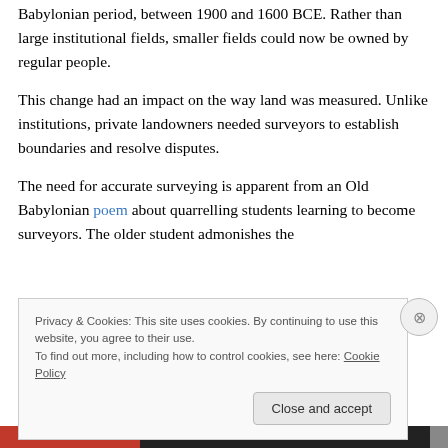Babylonian period, between 1900 and 1600 BCE. Rather than large institutional fields, smaller fields could now be owned by regular people.
This change had an impact on the way land was measured. Unlike institutions, private landowners needed surveyors to establish boundaries and resolve disputes.
The need for accurate surveying is apparent from an Old Babylonian poem about quarrelling students learning to become surveyors. The older student admonishes the
Privacy & Cookies: This site uses cookies. By continuing to use this website, you agree to their use.
To find out more, including how to control cookies, see here: Cookie Policy
Close and accept